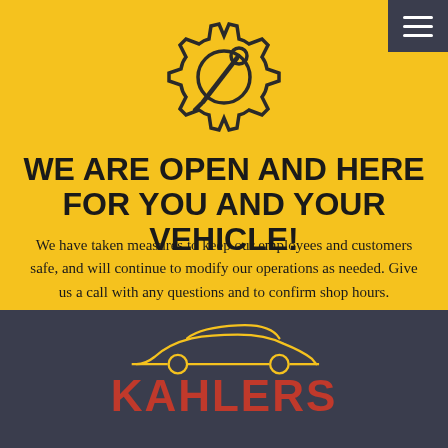[Figure (logo): Gear with wrench icon on yellow background]
WE ARE OPEN AND HERE FOR YOU AND YOUR VEHICLE!
We have taken measures to keep our employees and customers safe, and will continue to modify our operations as needed. Give us a call with any questions and to confirm shop hours.
[Figure (logo): Kahlers auto logo with sports car silhouette and KAHLERS text in red on dark background]